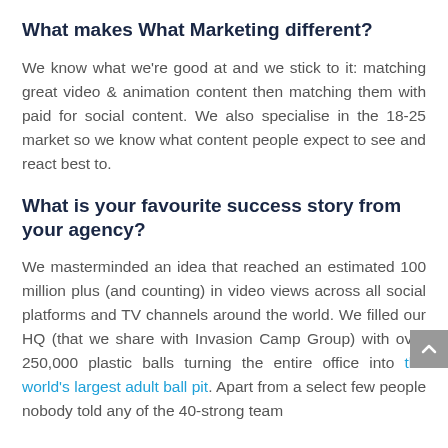What makes What Marketing different?
We know what we're good at and we stick to it: matching great video & animation content then matching them with paid for social content. We also specialise in the 18-25 market so we know what content people expect to see and react best to.
What is your favourite success story from your agency?
We masterminded an idea that reached an estimated 100 million plus (and counting) in video views across all social platforms and TV channels around the world. We filled our HQ (that we share with Invasion Camp Group) with over 250,000 plastic balls turning the entire office into the world's largest adult ball pit. Apart from a select few people nobody told any of the 40-strong team